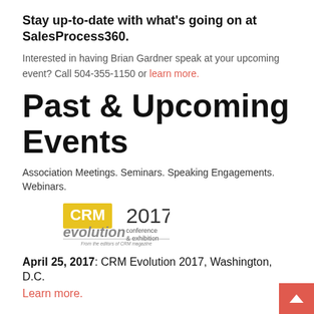Stay up-to-date with what's going on at SalesProcess360.
Interested in having Brian Gardner speak at your upcoming event? Call 504-355-1150 or learn more.
Past & Upcoming Events
Association Meetings. Seminars. Speaking Engagements. Webinars.
[Figure (logo): CRM Evolution 2017 conference & exhibition logo. From the editors of CRM magazine.]
April 25, 2017: CRM Evolution 2017, Washington, D.C.
Learn more.